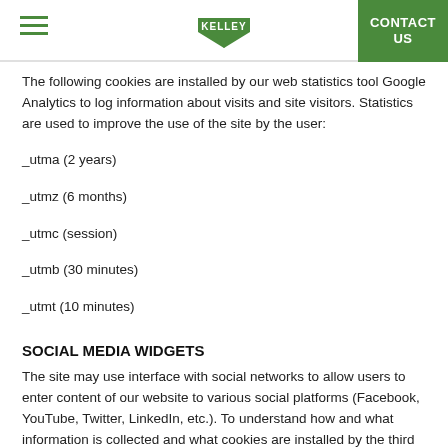KELLEY | CONTACT US
The following cookies are installed by our web statistics tool Google Analytics to log information about visits and site visitors. Statistics are used to improve the use of the site by the user:
_utma (2 years)
_utmz (6 months)
_utmc (session)
_utmb (30 minutes)
_utmt (10 minutes)
SOCIAL MEDIA WIDGETS
The site may use interface with social networks to allow users to enter content of our website to various social platforms (Facebook, YouTube, Twitter, LinkedIn, etc.). To understand how and what information is collected and what cookies are installed by the third